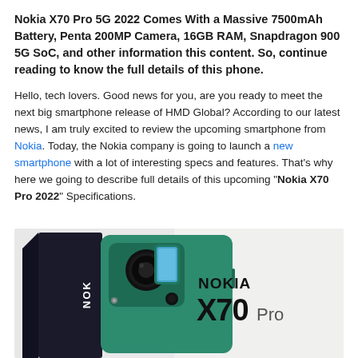Nokia X70 Pro 5G 2022 Comes With a Massive 7500mAh Battery, Penta 200MP Camera, 16GB RAM, Snapdragon 900 5G SoC, and other information this content. So, continue reading to know the full details of this phone.
Hello, tech lovers. Good news for you, are you ready to meet the next big smartphone release of HMD Global? According to our latest news, I am truly excited to review the upcoming smartphone from Nokia. Today, the Nokia company is going to launch a new smartphone with a lot of interesting specs and features. That's why here we going to describe full details of this upcoming "Nokia X70 Pro 2022" Specifications.
[Figure (photo): Nokia X70 Pro smartphone product image showing the back of a green phone with a circular camera module and a black box beside it, with Nokia X70 Pro branding text on the right side]